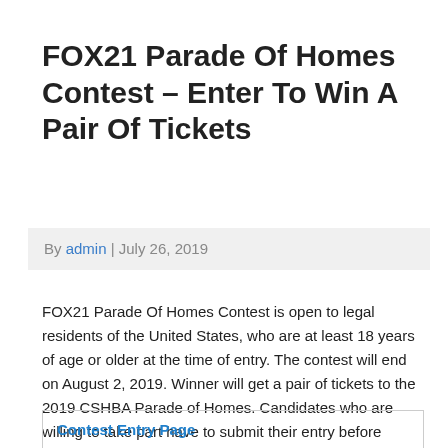FOX21 Parade Of Homes Contest – Enter To Win A Pair Of Tickets
By admin | July 26, 2019
FOX21 Parade Of Homes Contest is open to legal residents of the United States, who are at least 18 years of age or older at the time of entry. The contest will end on August 2, 2019. Winner will get a pair of tickets to the 2019 CSHBA Parade of Homes. Candidates who are willing to take part have to submit their entry before deadline.
| Contest Entry Page |
| Contest Rules |